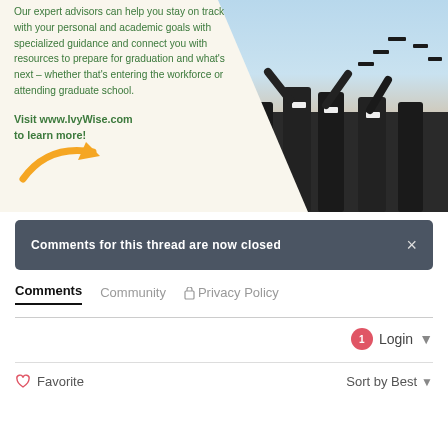[Figure (illustration): IvyWise advertisement banner showing text about expert advisors on a cream background with a photo of graduation students throwing caps on the right side, and a gold arrow pointing right.]
Our expert advisors can help you stay on track with your personal and academic goals with specialized guidance and connect you with resources to prepare for graduation and what's next – whether that's entering the workforce or attending graduate school.
Visit www.IvyWise.com to learn more!
Comments for this thread are now closed
Comments   Community   Privacy Policy
1  Login
Favorite   Sort by Best